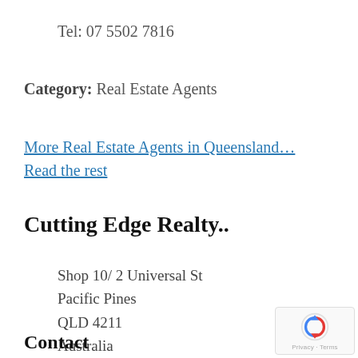Tel: 07 5502 7816
Category: Real Estate Agents
More Real Estate Agents in Queensland… Read the rest
Cutting Edge Realty..
Shop 10/ 2 Universal St
Pacific Pines
QLD 4211
Australia
Contact
[Figure (logo): Google reCAPTCHA badge with arrow/refresh icon and Privacy – Terms text]